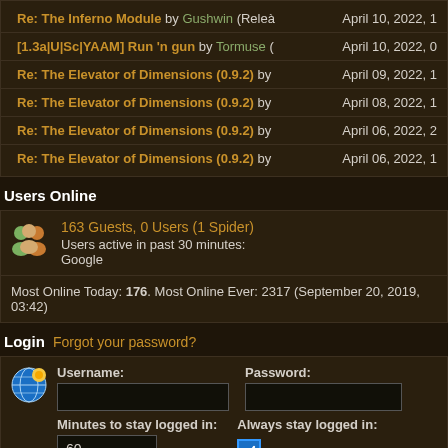Re: The Inferno Module by Gushwin (Relea... — April 10, 2022, 1
[1.3a|U|Sc|YAAM] Run 'n gun by Tormuse ( — April 10, 2022, 0
Re: The Elevator of Dimensions (0.9.2) by — April 09, 2022, 1
Re: The Elevator of Dimensions (0.9.2) by — April 08, 2022, 1
Re: The Elevator of Dimensions (0.9.2) by — April 06, 2022, 2
Re: The Elevator of Dimensions (0.9.2) by — April 06, 2022, 1
Users Online
163 Guests, 0 Users (1 Spider)
Users active in past 30 minutes:
Google
Most Online Today: 176. Most Online Ever: 2317 (September 20, 2019, 03:42)
Login Forgot your password?
Username: [input] Password: [input]
Minutes to stay logged in: 60   Always stay logged in: [checked]